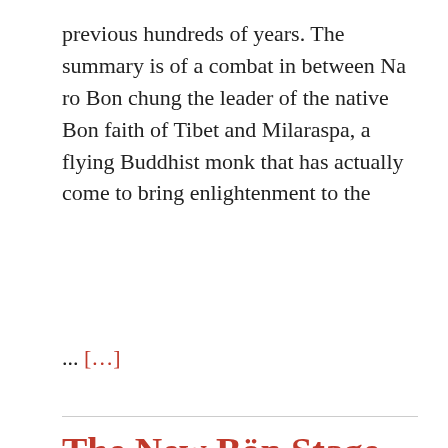previous hundreds of years. The summary is of a combat in between Na ro Bon chung the leader of the native Bon faith of Tibet and Milaraspa, a flying Buddhist monk that has actually come to bring enlightenment to the
... […]
The New Bön Stage Arised In The 14th Century When Some Bön Teachers Started